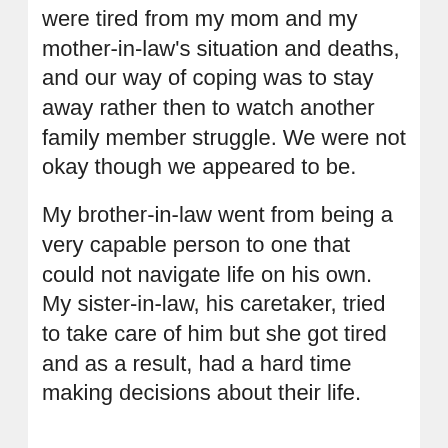were tired from my mom and my mother-in-law's situation and deaths, and our way of coping was to stay away rather then to watch another family member struggle. We were not okay though we appeared to be.
My brother-in-law went from being a very capable person to one that could not navigate life on his own. My sister-in-law, his caretaker, tried to take care of him but she got tired and as a result, had a hard time making decisions about their life.